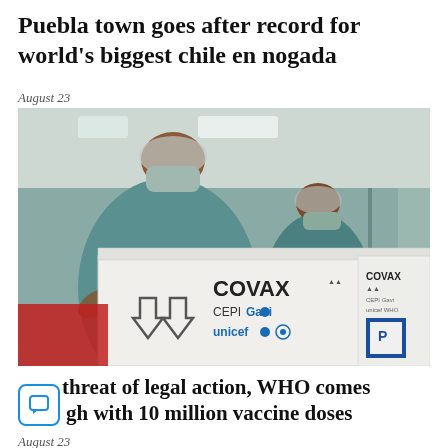Puebla town goes after record for world's biggest chile en nogada
August 23
[Figure (photo): Two workers in teal uniforms, hair nets, and face masks handling white COVAX vaccine shipment boxes labeled with COVAX, CEPI, Gavi, unicef and WHO logos in a facility.]
After threat of legal action, WHO comes through with 10 million vaccine doses
August 23